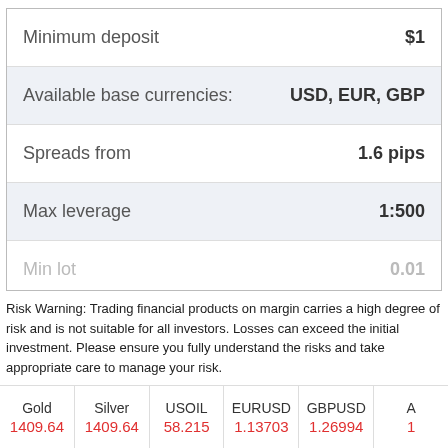| Feature | Value |
| --- | --- |
| Minimum deposit | $1 |
| Available base currencies: | USD, EUR, GBP |
| Spreads from | 1.6 pips |
| Max leverage | 1:500 |
| Min lot | 0.01 |
Risk Warning: Trading financial products on margin carries a high degree of risk and is not suitable for all investors. Losses can exceed the initial investment. Please ensure you fully understand the risks and take appropriate care to manage your risk.
| Gold | Silver | USOIL | EURUSD | GBPUSD | A |
| --- | --- | --- | --- | --- | --- |
| 1409.64 | 1409.64 | 58.215 | 1.13703 | 1.26994 | 1 |